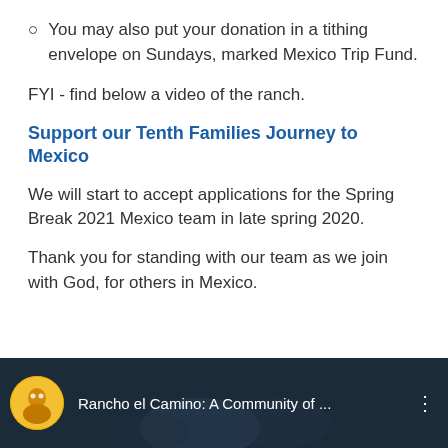You may also put your donation in a tithing envelope on Sundays, marked Mexico Trip Fund.
FYI - find below a video of the ranch.
Support our Tenth Families Journey to Mexico
We will start to accept applications for the Spring Break 2021 Mexico team in late spring 2020.
Thank you for standing with our team as we join with God, for others in Mexico.
[Figure (screenshot): Video thumbnail showing 'Rancho el Camino: A Community of...' with a circular yellow icon on the left and a three-dot menu on the right, over a dark background with faces visible]